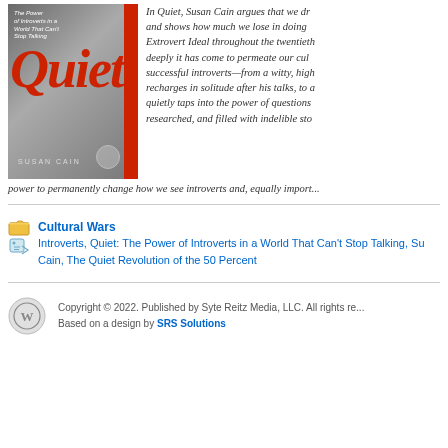[Figure (photo): Book cover of 'Quiet: The Power of Introverts in a World That Can't Stop Talking' by Susan Cain, with large red italic 'Quiet' text on grey background with red stripe on right side]
In Quiet, Susan Cain argues that we dr... and shows how much we lose in doing so. Extrovert Ideal throughout the twentieth century, deeply it has come to permeate our cul... successful introverts—from a witty, high... recharges in solitude after his talks, to a... quietly taps into the power of questions... researched, and filled with indelible sto... power to permanently change how we see introverts and, equally import...
Cultural Wars
Introverts, Quiet: The Power of Introverts in a World That Can't Stop Talking, Su... Cain, The Quiet Revolution of the 50 Percent
Copyright © 2022. Published by Syte Reitz Media, LLC. All rights re... Based on a design by SRS Solutions